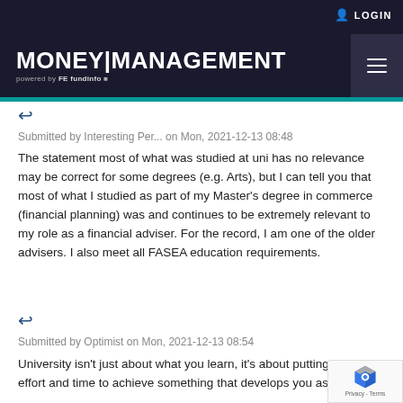MONEY|MANAGEMENT powered by FE fundinfo LOGIN
Submitted by Interesting Per... on Mon, 2021-12-13 08:48
The statement most of what was studied at uni has no relevance may be correct for some degrees (e.g. Arts), but I can tell you that most of what I studied as part of my Master's degree in commerce (financial planning) was and continues to be extremely relevant to my role as a financial adviser. For the record, I am one of the older advisers. I also meet all FASEA education requirements.
Submitted by Optimist on Mon, 2021-12-13 08:54
University isn't just about what you learn, it's about putting in the effort and time to achieve something that develops you as a person